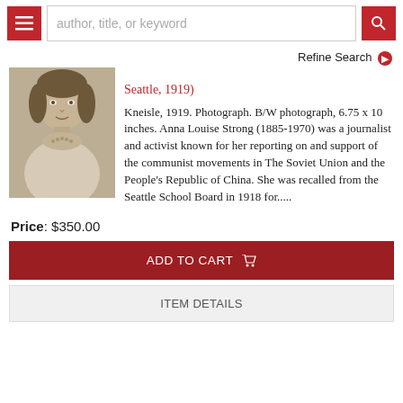author, title, or keyword
Refine Search
[Figure (photo): Black and white portrait photograph of Anna Louise Strong, showing head and upper torso, wearing a light-colored blouse with decorative neckline.]
Seattle, 1919)
Kneisle, 1919. Photograph. B/W photograph, 6.75 x 10 inches. Anna Louise Strong (1885-1970) was a journalist and activist known for her reporting on and support of the communist movements in The Soviet Union and the People's Republic of China. She was recalled from the Seattle School Board in 1918 for.....
Price: $350.00
ADD TO CART
ITEM DETAILS